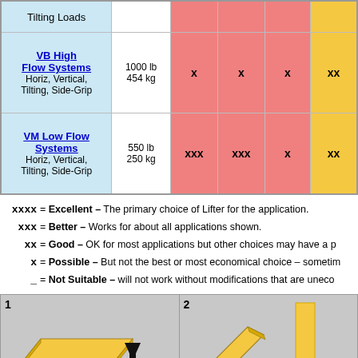| System | Capacity | Col3 | Col4 | Col5 | Col6 |
| --- | --- | --- | --- | --- | --- |
| Tilting Loads |  |  |  |  |  |
| VB High Flow Systems
Horiz, Vertical, Tilting, Side-Grip | 1000 lb
454 kg | x | x | x | xx |
| VM Low Flow Systems
Horiz, Vertical, Tilting, Side-Grip | 550 lb
250 kg | xxx | xxx | x | xx |
xxxx = Excellent – The primary choice of Lifter for the application.
 xxx = Better – Works for about all applications shown.
  xx = Good – OK for most applications but other choices may have a p
   x = Possible – But not the best or most economical choice – sometim
   _ = Not Suitable – will not work without modifications that are uneco
[Figure (illustration): Two side-by-side diagrams labeled 1 and 2, showing load orientation illustrations with a flat horizontal panel and an upward arrow (diagram 1), and a tilted/vertical panel with a yellow bar (diagram 2), set on grey backgrounds.]